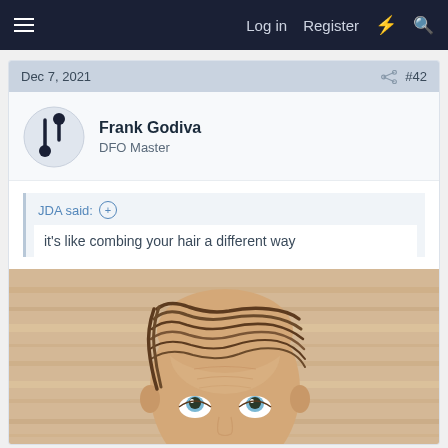Log in  Register
Dec 7, 2021  #42
Frank Godiva
DFO Master
JDA said:
it's like combing your hair a different way
[Figure (photo): A man with very long hair combed over a bald head, against a wood-panel background, looking upward with wide eyes.]